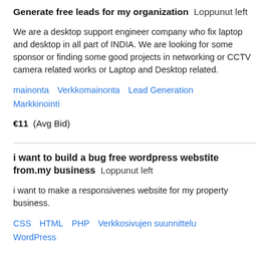Generate free leads for my organization   Loppunut left
We are a desktop support engineer company who fix laptop and desktop in all part of INDIA. We are looking for some sponsor or finding some good projects in networking or CCTV camera related works or Laptop and Desktop related.
mainonta   Verkkomainonta   Lead Generation   Markkinointi
€11   (Avg Bid)
i want to build a bug free wordpress webstite from.my business   Loppunut left
i want to make a responsivenes website for my property business.
CSS   HTML   PHP   Verkkosivujen suunnittelu   WordPress